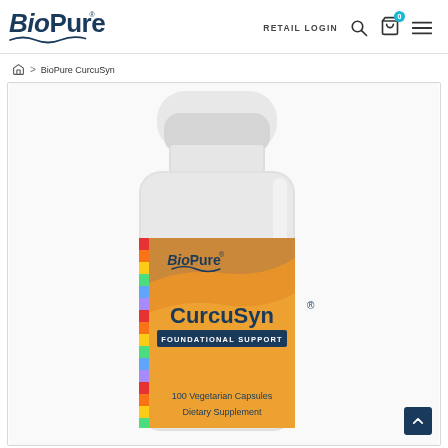BioPure® | RETAIL LOGIN
⌂ > BioPure CurcuSyn
[Figure (photo): BioPure CurcuSyn supplement bottle - white plastic bottle with orange/tan label. Label reads: BioPure CurcuSyn® Foundational Support, 100 Vegetarian Capsules, Dietary Supplement. Colorful vertical stripe on left side of label.]